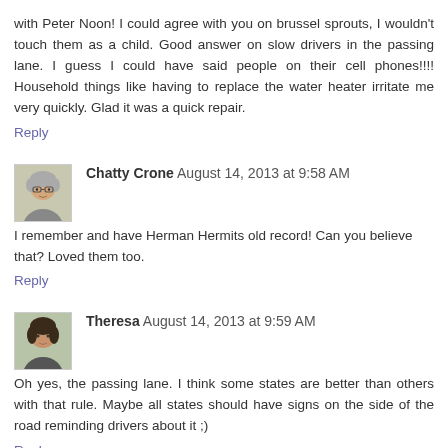with Peter Noon! I could agree with you on brussel sprouts, I wouldn't touch them as a child. Good answer on slow drivers in the passing lane. I guess I could have said people on their cell phones!!!! Household things like having to replace the water heater irritate me very quickly. Glad it was a quick repair.
Reply
Chatty Crone  August 14, 2013 at 9:58 AM
I remember and have Herman Hermits old record! Can you believe that? Loved them too.
Reply
Theresa  August 14, 2013 at 9:59 AM
Oh yes, the passing lane. I think some states are better than others with that rule. Maybe all states should have signs on the side of the road reminding drivers about it ;)
Reply